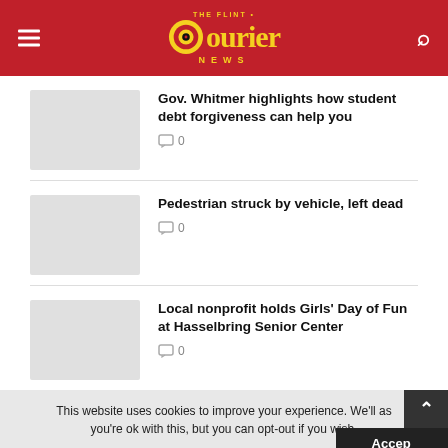[Figure (logo): The Flint Courier News logo with red header background, yellow circular target icon and yellow text]
Gov. Whitmer highlights how student debt forgiveness can help you  0
Pedestrian struck by vehicle, left dead  0
Local nonprofit holds Girls' Day of Fun at Hasselbring Senior Center  0
This website uses cookies to improve your experience. We'll assume you're ok with this, but you can opt-out if you wish.
Read More